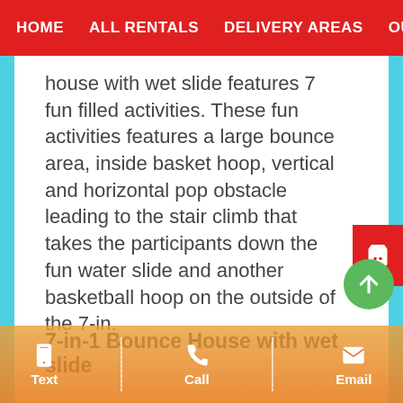HOME   ALL RENTALS   DELIVERY AREAS   OUR COMPA
house with wet slide features 7 fun filled activities. These fun activities features a large bounce area, inside basket hoop, vertical and horizontal pop obstacle leading to the stair climb that takes the participants down the fun water slide and another basketball hoop on the outside of the 7-in.
7-in-1 Bounce House with wet slide
The 7-in-1 bounce house with wet slide for rent has the following safety features: a entrance ramp and netted windows. There are three sides on the 7-in-1 bounce house with wet Slide that have netted windows that help with air flow and also help assist